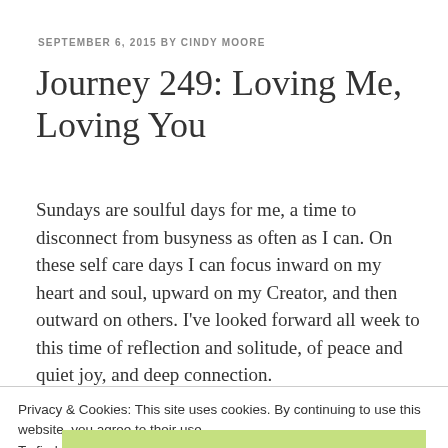SEPTEMBER 6, 2015 BY CINDY MOORE
Journey 249: Loving Me, Loving You
Sundays are soulful days for me, a time to disconnect from busyness as often as I can. On these self care days I can focus inward on my heart and soul, upward on my Creator, and then outward on others. I've looked forward all week to this time of reflection and solitude, of peace and quiet joy, and deep connection.
Privacy & Cookies: This site uses cookies. By continuing to use this website, you agree to their use.
To find out more, including how to control cookies, see here: Cookie Policy
Close and accept